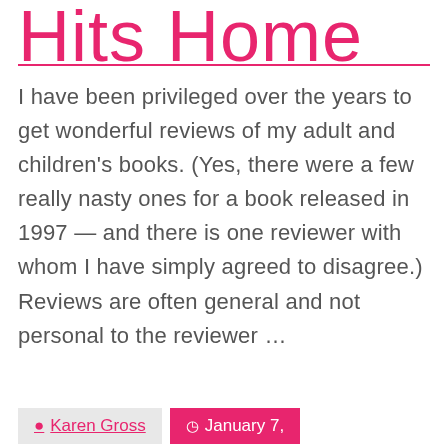Hits Home
I have been privileged over the years to get wonderful reviews of my adult and children's books. (Yes, there were a few really nasty ones for a book released in 1997 — and there is one reviewer with whom I have simply agreed to disagree.) Reviews are often general and not personal to the reviewer …
Continue reading
Karen Gross   January 7,